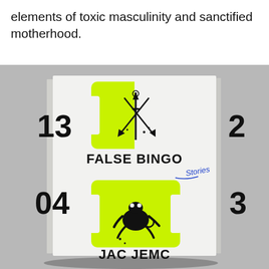elements of toxic masculinity and sanctified motherhood.
[Figure (photo): Book cover of 'False Bingo' by Jac Jemc. The cover is white with bingo card styling showing numbers 13, 2, 04, 3 around the edges. Two bright yellow-green bingo tiles are shown: the top tile features crossed swords/daggers silhouette, the bottom tile features a leaping frog silhouette. The title 'FALSE BINGO' is printed in bold black text in the center, with a blue handwritten 'Stories' signature. The author name 'JAC JEMC' appears at the bottom. The book is shown at an angle against a gray background.]